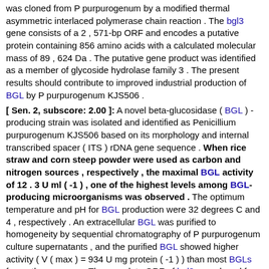was cloned from P purpurogenum by a modified thermal asymmetric interlaced polymerase chain reaction . The bgl3 gene consists of a 2 , 571-bp ORF and encodes a putative protein containing 856 amino acids with a calculated molecular mass of 89 , 624 Da . The putative gene product was identified as a member of glycoside hydrolase family 3 . The present results should contribute to improved industrial production of BGL by P purpurogenum KJS506 .
[ Sen. 2, subscore: 2.00 ]: A novel beta-glucosidase ( BGL ) -producing strain was isolated and identified as Penicillium purpurogenum KJS506 based on its morphology and internal transcribed spacer ( ITS ) rDNA gene sequence . When rice straw and corn steep powder were used as carbon and nitrogen sources , respectively , the maximal BGL activity of 12 . 3 U ml ( -1 ) , one of the highest levels among BGL-producing microorganisms was observed . The optimum temperature and pH for BGL production were 32 degrees C and 4 , respectively . An extracellular BGL was purified to homogeneity by sequential chromatography of P purpurogenum culture supernatants , and the purified BGL showed higher activity ( V ( max ) = 934 U mg protein ( -1 ) ) than most BGLs from other sources . The complete ORF of bgl3 was cloned from P purpurogenum by a modified thermal asymmetric interlaced polymerase chain reaction . The bgl3 gene consists of a 2 , 571-bp ORF and encodes a putative protein containing 856 amino acids with a calculated molecular mass of 89 , 624 Da . The putative gene product was identified as a member of glycoside hydrolase family 3 . The present results should contribute to improved industrial production of BGL by P purpurogenum KJS506 .
[ Sen. 1, subscore: 1.00 ]: A novel beta-glucosidase ( BGL ) -producing strain was isolated and identified as Penicillium purpurogenum KJS506 based on its morphology and internal transcribed spacer ( ITS ) rDNA gene sequence . When rice straw and corn steep powder were used as carbon and nitrogen sources ...